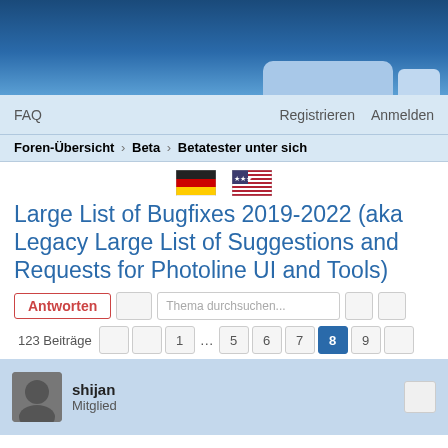[Figure (screenshot): Blue gradient header banner with lighter tab shapes at bottom right]
FAQ    Registrieren    Anmelden
Foren-Übersicht › Beta › Betatester unter sich
[Figure (illustration): German flag and US flag icons]
Large List of Bugfixes 2019-2022 (aka Legacy Large List of Suggestions and Requests for Photoline UI and Tools)
Antworten   Thema durchsuchen...
123 Beiträge   1 ... 5 6 7 8 9
shijan
Mitglied
Re: Large List of Suggestions and Requests for Photoline UI and Tools